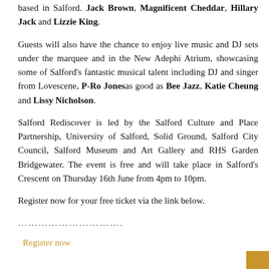based in Salford. Jack Brown, Magnificent Cheddar, Hillary Jack and Lizzie King.
Guests will also have the chance to enjoy live music and DJ sets under the marquee and in the New Adephi Atrium, showcasing some of Salford's fantastic musical talent including DJ and singer from Lovescene, P-Ro Jones as good as Bee Jazz, Katie Cheung and Lissy Nicholson.
Salford Rediscover is led by the Salford Culture and Place Partnership, University of Salford, Solid Ground, Salford City Council, Salford Museum and Art Gallery and RHS Garden Bridgewater. The event is free and will take place in Salford's Crescent on Thursday 16th June from 4pm to 10pm.
Register now for your free ticket via the link below.
……………………………
Register now